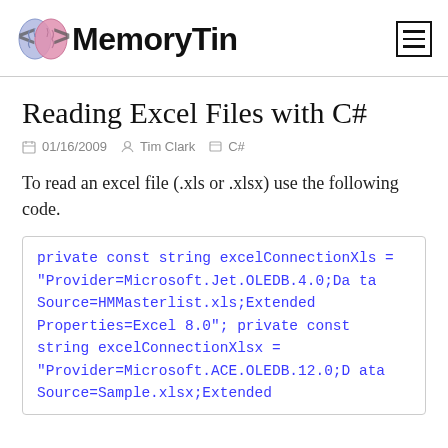MemoryTin
Reading Excel Files with C#
01/16/2009  Tim Clark  C#
To read an excel file (.xls or .xlsx) use the following code.
private const string excelConnectionXls = "Provider=Microsoft.Jet.OLEDB.4.0;Data Source=HMMasterlist.xls;Extended Properties=Excel 8.0";     private const string excelConnectionXlsx = "Provider=Microsoft.ACE.OLEDB.12.0;Data Source=Sample.xlsx;Extended